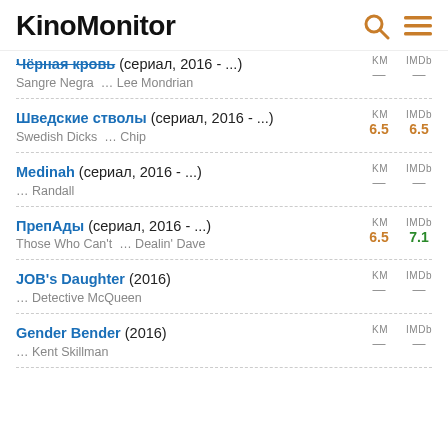KinoMonitor
Чёрная кровь (сериал, 2016 - ...) — Sangre Negra ... Lee Mondrian — KM — IMDb —
Шведские стволы (сериал, 2016 - ...) — Swedish Dicks ... Chip — KM 6.5 IMDb 6.5
Medinah (сериал, 2016 - ...) — ... Randall — KM — IMDb —
ПрепАды (сериал, 2016 - ...) — Those Who Can't ... Dealin' Dave — KM 6.5 IMDb 7.1
JOB's Daughter (2016) — ... Detective McQueen — KM — IMDb —
Gender Bender (2016) — ... Kent Skillman — KM — IMDb —